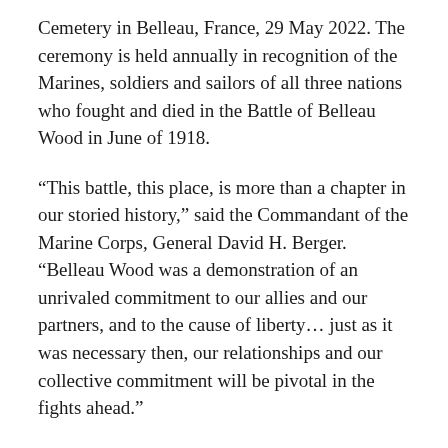Cemetery in Belleau, France, 29 May 2022. The ceremony is held annually in recognition of the Marines, soldiers and sailors of all three nations who fought and died in the Battle of Belleau Wood in June of 1918.
“This battle, this place, is more than a chapter in our storied history,” said the Commandant of the Marine Corps, General David H. Berger. “Belleau Wood was a demonstration of an unrivaled commitment to our allies and our partners, and to the cause of liberty… just as it was necessary then, our relationships and our collective commitment will be pivotal in the fights ahead.”
The Battle of Belleau Wood is remembered for the intensity of the fighting and the heavy casualties sustained, as well as for the participation of the 5th and 6th Marine Regiments. To this day, Marines